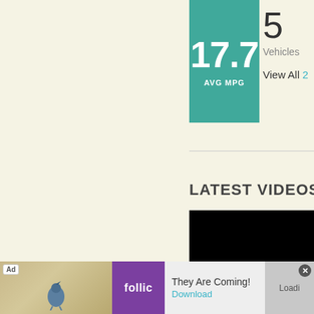[Figure (infographic): Teal/green box showing 17.7 AVG MPG stat]
5
Vehicles
View All
LATEST VIDEOS
[Figure (screenshot): Black video player area]
[Figure (infographic): Ad bar at bottom: 'Ad' badge, Rollic game ad, 'They Are Coming!' text, Download link, Loading area with close X button]